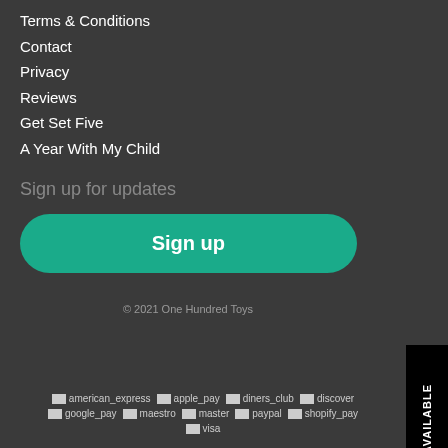Terms & Conditions
Contact
Privacy
Reviews
Get Set Five
A Year With My Child
Sign up for updates
Sign up
© 2021 One Hundred Toys
[Figure (other): Payment method icons: american_express, apple_pay, diners_club, discover, google_pay, maestro, master, paypal, shopify_pay, visa]
NOTIFY WHEN AVAILABLE